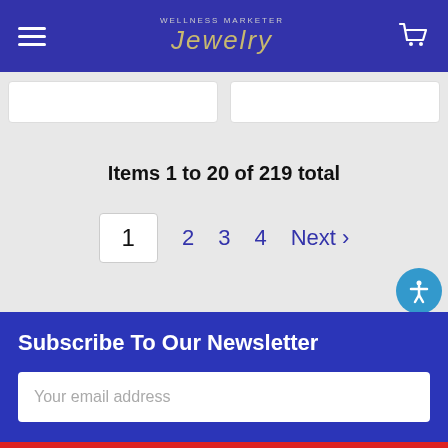WELLNESS MARKETER Jewelry
Items 1 to 20 of 219 total
1  2  3  4  Next ›
Subscribe To Our Newsletter
Your email address